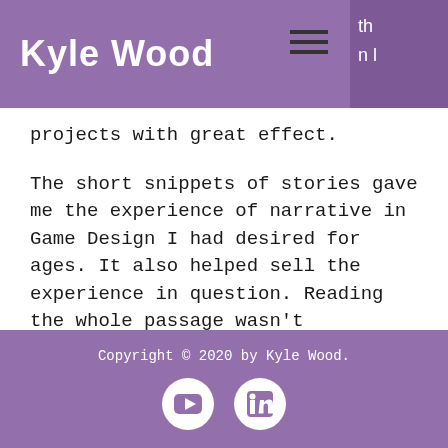Kyle Wood
projects with great effect.
The short snippets of stories gave me the experience of narrative in Game Design I had desired for ages. It also helped sell the experience in question. Reading the whole passage wasn't necessary, but it helped empower that fantasy of relaxation. In total, I ended up writing 33 of these short stories for the project.
Copyright © 2020 by Kyle Wood.